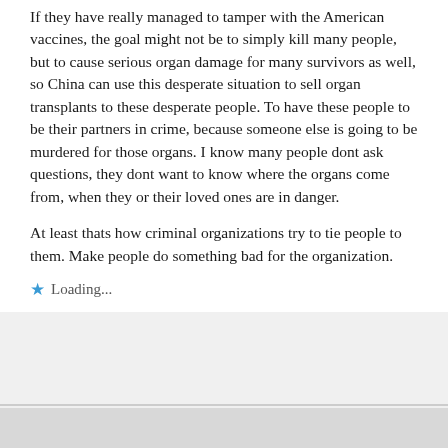If they have really managed to tamper with the American vaccines, the goal might not be to simply kill many people, but to cause serious organ damage for many survivors as well, so China can use this desperate situation to sell organ transplants to these desperate people. To have these people to be their partners in crime, because someone else is going to be murdered for those organs. I know many people dont ask questions, they dont want to know where the organs come from, when they or their loved ones are in danger.
At least thats how criminal organizations try to tie people to them. Make people do something bad for the organization.
⭐ Loading...